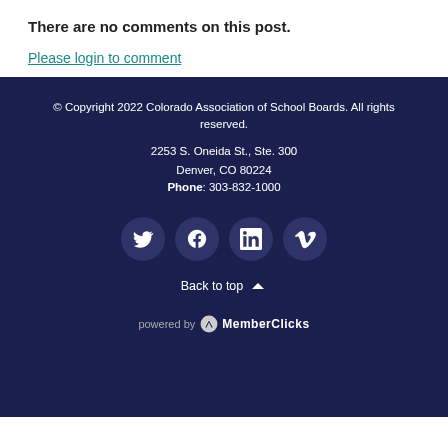There are no comments on this post.
Please login to comment
© Copyright 2022 Colorado Association of School Boards. All rights reserved.
2253 S. Oneida St., Ste. 300
Denver, CO 80224
Phone: 303-832-1000
[Social icons: Twitter, Facebook, LinkedIn, Vimeo]
Back to top
powered by MemberClicks